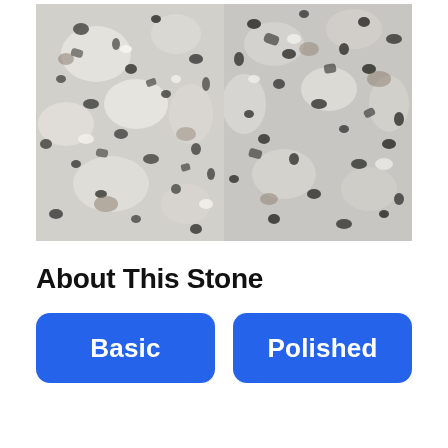[Figure (photo): Close-up photograph of granite stone surface showing white/grey and black speckled mineral pattern - left image]
[Figure (photo): Close-up photograph of granite stone surface showing white/grey and black speckled mineral pattern - right image, slightly different texture]
About This Stone
Basic
Polished